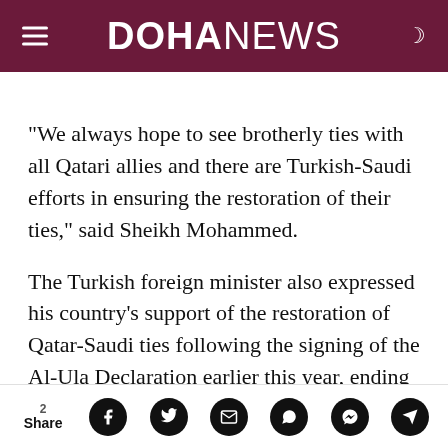DOHANEWS
“We always hope to see brotherly ties with all Qatari allies and there are Turkish-Saudi efforts in ensuring the restoration of their ties,” said Sheikh Mohammed.
The Turkish foreign minister also expressed his country’s support of the restoration of Qatar-Saudi ties following the signing of the Al-Ula Declaration earlier this year, ending a three-year diplomatic rift.
Share 2 | Facebook | Twitter | Email | WhatsApp | Messenger | Telegram